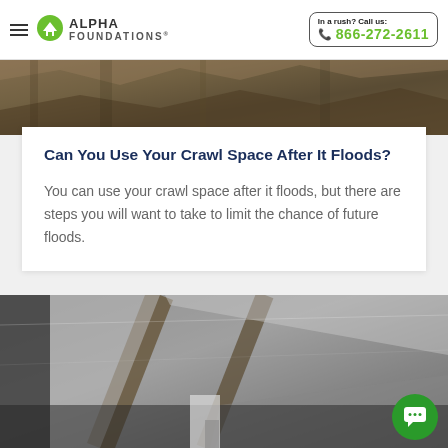Alpha Foundations — In a rush? Call us: 866-272-2611
[Figure (photo): Top portion of a crawl space or stone wall area, cropped image strip]
Can You Use Your Crawl Space After It Floods?
You can use your crawl space after it floods, but there are steps you will want to take to limit the chance of future floods.
[Figure (photo): Interior of a crawl space showing silver insulation on ceiling joists and structural supports, dark and damp environment]